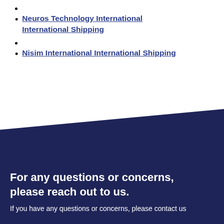Neuros Technology International International Shipping
Nisim International International Shipping
For any questions or concerns, please reach out to us.
If you have any questions or concerns, please contact us